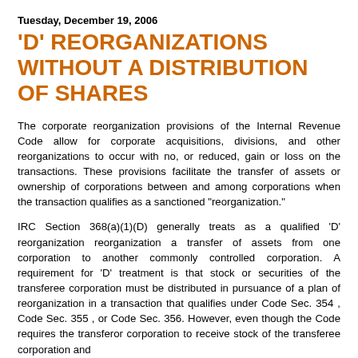Tuesday, December 19, 2006
'D' REORGANIZATIONS WITHOUT A DISTRIBUTION OF SHARES
The corporate reorganization provisions of the Internal Revenue Code allow for corporate acquisitions, divisions, and other reorganizations to occur with no, or reduced, gain or loss on the transactions. These provisions facilitate the transfer of assets or ownership of corporations between and among corporations when the transaction qualifies as a sanctioned "reorganization."
IRC Section 368(a)(1)(D) generally treats as a qualified 'D' reorganization reorganization a transfer of assets from one corporation to another commonly controlled corporation. A requirement for 'D' treatment is that stock or securities of the transferee corporation must be distributed in pursuance of a plan of reorganization in a transaction that qualifies under Code Sec. 354 , Code Sec. 355 , or Code Sec. 356. However, even though the Code requires the transferor corporation to receive stock of the transferee corporation and